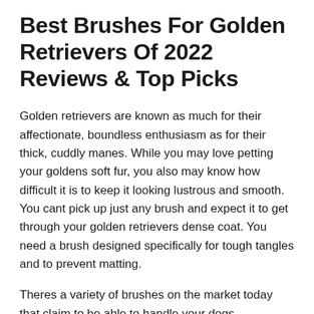Best Brushes For Golden Retrievers Of 2022 Reviews & Top Picks
Golden retrievers are known as much for their affectionate, boundless enthusiasm as for their thick, cuddly manes. While you may love petting your goldens soft fur, you also may know how difficult it is to keep it looking lustrous and smooth. You cant pick up just any brush and expect it to get through your golden retrievers dense coat. You need a brush designed specifically for tough tangles and to prevent matting.
Theres a variety of brushes on the market today that claim to be able to handle your dogs challenging fur. Some products are up to the task, while others will waste your time and money.